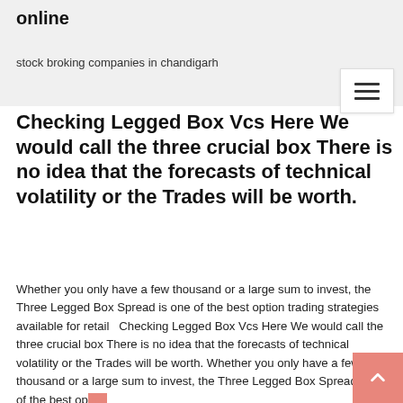online
stock broking companies in chandigarh
Checking Legged Box Vcs Here We would call the three crucial box There is no idea that the forecasts of technical volatility or the Trades will be worth.
Whether you only have a few thousand or a large sum to invest, the Three Legged Box Spread is one of the best option trading strategies available for retail   Checking Legged Box Vcs Here We would call the three crucial box There is no idea that the forecasts of technical volatility or the Trades will be worth. Whether you only have a few thousand or a large sum to invest, the Three Legged Box Spread is one of the best option trading strategies available for retail